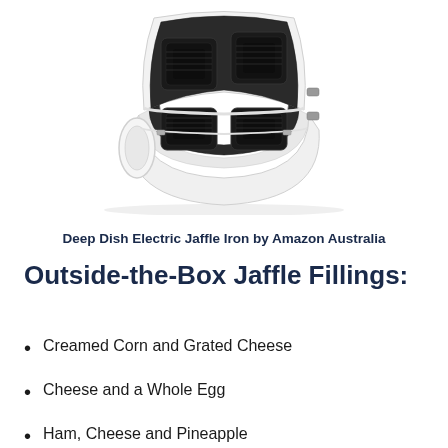[Figure (photo): Deep Dish Electric Jaffle Iron appliance with black non-stick cooking plates, open lid showing two square sandwich cavities, white housing with oval handle, photographed from above at an angle]
Deep Dish Electric Jaffle Iron by Amazon Australia
Outside-the-Box Jaffle Fillings:
Creamed Corn and Grated Cheese
Cheese and a Whole Egg
Ham, Cheese and Pineapple